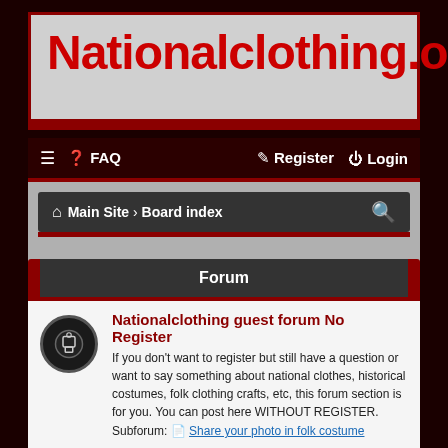Nationalclothing.org
☰  ? FAQ    Register  Login
Main Site › Board index
It is currently Sun Sep 04, 2022 7:16 pm
Forum
Nationalclothing guest forum No Register
If you don't want to register but still have a question or want to say something about national clothes, historical costumes, folk clothing crafts, etc, this forum section is for you. You can post here WITHOUT REGISTER.
Subforum: Share your photo in folk costume